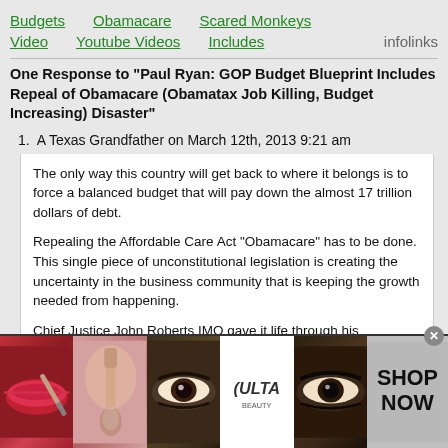Budgets   Obamacare   Scared Monkeys   Video   Youtube Videos   Includes   infolinks
One Response to "Paul Ryan: GOP Budget Blueprint Includes Repeal of Obamacare (Obamatax Job Killing, Budget Increasing) Disaster"
1. A Texas Grandfather on March 12th, 2013 9:21 am
The only way this country will get back to where it belongs is to force a balanced budget that will pay down the almost 17 trillion dollars of debt.
Repealing the Affordable Care Act “Obamacare” has to be done. This single piece of unconstitutional legislation is creating the uncertainty in the business community that is keeping the growth needed from happening.
Chief Justice John Roberts IMO gave it life through his legislation from the bench. For overstepping his authority, the people should begin steps to remove him from the bench.
[Figure (advertisement): ULTA beauty advertisement banner showing makeup imagery (lips, brush, eye, ULTA logo, eye close-up) with SHOP NOW call to action button]